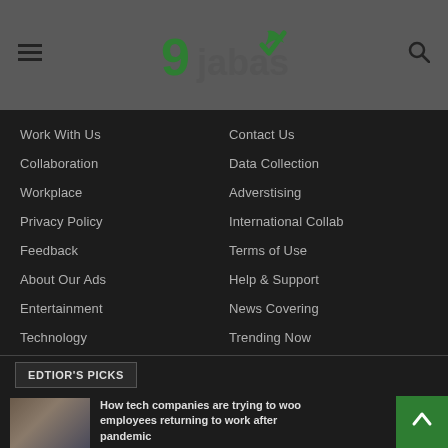9jabase logo header with hamburger menu and search icon
Work With Us
Contact Us
Collaboration
Data Collection
Workplace
Adverstising
Privacy Policy
International Collab
Feedback
Terms of Use
About Our Ads
Help & Support
Entertainment
News Covering
Technology
Trending Now
EDTIOR'S PICKS
How tech companies are trying to woo employees returning to work after pandemic